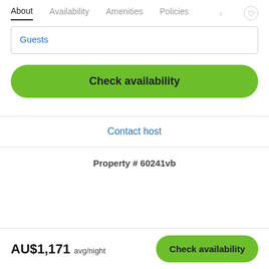About  Availability  Amenities  Policies
Guests
Check availability
Contact host
Property # 60241vb
AU$1,171 avg/night  Check availability